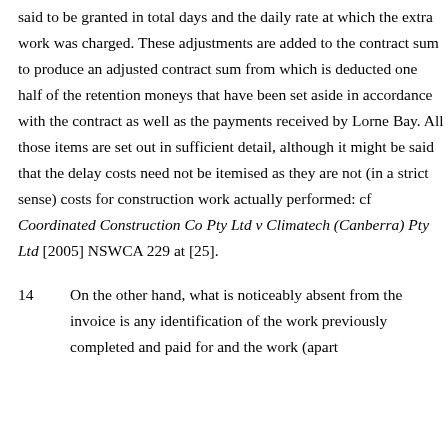said to be granted in total days and the daily rate at which the extra work was charged.  These adjustments are added to the contract sum to produce an adjusted contract sum from which is deducted one half of the retention moneys that have been set aside in accordance with the contract as well as the payments received by Lorne Bay.  All those items are set out in sufficient detail, although it might be said that the delay costs need not be itemised as they are not (in a strict sense) costs for construction work actually performed:  cf Coordinated Construction Co Pty Ltd v Climatech (Canberra) Pty Ltd [2005] NSWCA 229 at [25].
14	On the other hand, what is noticeably absent from the invoice is any identification of the work previously completed and paid for and the work (apart from the extra items) which the invoice relates.  The